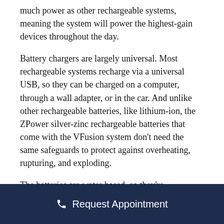much power as other rechargeable systems, meaning the system will power the highest-gain devices throughout the day.
Battery chargers are largely universal. Most rechargeable systems recharge via a universal USB, so they can be charged on a computer, through a wall adapter, or in the car. And unlike other rechargeable batteries, like lithium-ion, the ZPower silver-zinc rechargeable batteries that come with the VFusion system don't need the same safeguards to protect against overheating, rupturing, and exploding.
The batteries are water based, so they're
Request Appointment